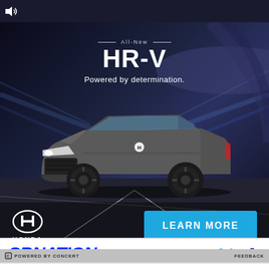[Figure (photo): Honda HR-V advertisement showing the All-New HR-V SUV driving through a dark tunnel with motion-blur lighting effects. Text reads 'All-New HR-V' and 'Powered by determination.' Honda logo and LEARN MORE button visible at bottom.]
POWERED BY CONCERT
FEEDBACK
[Figure (logo): SBNation logo in blue italic bold text, with Twitter and Facebook social icons to the right]